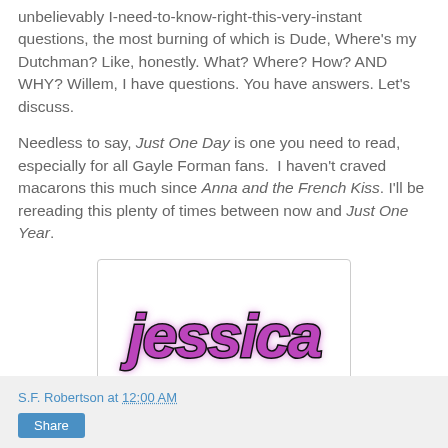unbelievably I-need-to-know-right-this-very-instant questions, the most burning of which is Dude, Where's my Dutchman? Like, honestly. What? Where? How? AND WHY? Willem, I have questions. You have answers. Let's discuss.
Needless to say, Just One Day is one you need to read, especially for all Gayle Forman fans.  I haven't craved macarons this much since Anna and the French Kiss. I'll be rereading this plenty of times between now and Just One Year.
[Figure (illustration): Stylized graffiti-style signature reading 'jessica' in purple and black lettering with decorative elements, displayed in a rounded rectangle box.]
S.F. Robertson at 12:00 AM  Share